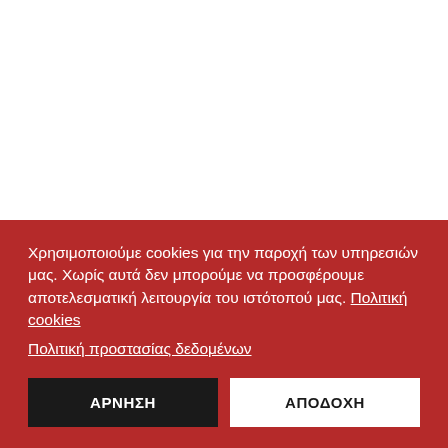Χρησιμοποιούμε cookies για την παροχή των υπηρεσιών μας. Χωρίς αυτά δεν μπορούμε να προσφέρουμε αποτελεσματική λειτουργία του ιστότοπού μας. Πολιτική cookies
Πολιτική προστασίας δεδομένων
ΑΡΝΗΣΗ
ΑΠΟΔΟΧΗ